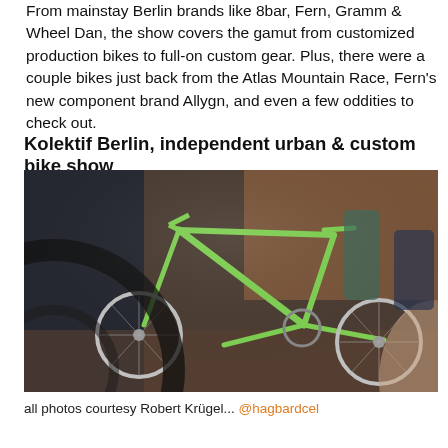From mainstay Berlin brands like 8bar, Fern, Gramm & Wheel Dan, the show covers the gamut from customized production bikes to full-on custom gear. Plus, there were a couple bikes just back from the Atlas Mountain Race, Fern's new component brand Allygn, and even a few oddities to check out.
Kolektif Berlin, independent urban & custom bike show
[Figure (photo): Photo of custom bicycles on display at a bike show, shot through a blurred bicycle wheel in the foreground. A bright green track-style bike is the main subject, with other bikes and people visible in the background.]
all photos courtesy Robert Krügel... @hagbardcel